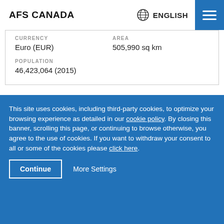AFS CANADA
| Euro (EUR) | 505,990 sq km |
| POPULATION |  |
| 46,423,064 (2015) |  |
This site uses cookies, including third-party cookies, to optimize your browsing experience as detailed in our cookie policy. By closing this banner, scrolling this page, or continuing to browse otherwise, you agree to the use of cookies. If you want to withdraw your consent to all or some of the cookies please click here.
Continue   More Settings